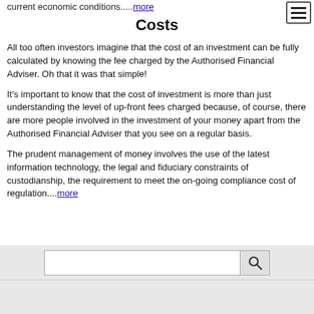current economic conditions.....more
Costs
All too often investors imagine that the cost of an investment can be fully calculated by knowing the fee charged by the Authorised Financial Adviser. Oh that it was that simple!
It's important to know that the cost of investment is more than just understanding the level of up-front fees charged because, of course, there are more people involved in the investment of your money apart from the Authorised Financial Adviser that you see on a regular basis.
The prudent management of money involves the use of the latest information technology, the legal and fiduciary constraints of custodianship, the requirement to meet the on-going compliance cost of regulation....more